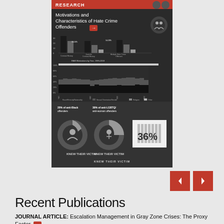[Figure (infographic): Infographic titled 'Motivations and Characteristics of Hate Crime Offenders' showing bar charts of criminal history and multiple hate crime offenses, a stacked bar chart of bias motivations by year 1999-2018 (Race/Ethnicity/Nationality, Sexual Orientation/Gender, Religion, Other), and donut charts showing 20% of anti-Black offenders and 30% of anti-LGBTQ/anti-woman offenders knew their victim, plus 36% statistic.]
[Figure (other): Navigation buttons: left arrow (previous) and right arrow (next) in red squares]
Recent Publications
JOURNAL ARTICLE: Escalation Management in Gray Zone Crises: The Proxy Factor